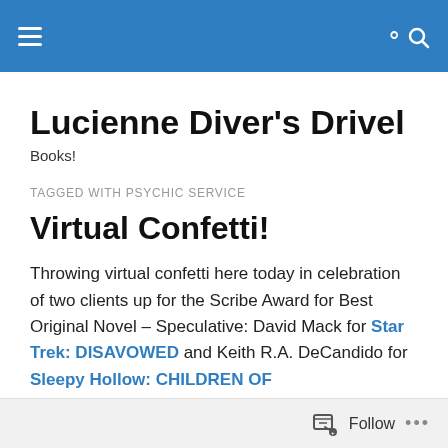Lucienne Diver's Drivel — navigation bar
Lucienne Diver's Drivel
Books!
TAGGED WITH PSYCHIC SERVICE
Virtual Confetti!
Throwing virtual confetti here today in celebration of two clients up for the Scribe Award for Best Original Novel – Speculative: David Mack for Star Trek: DISAVOWED and Keith R.A. DeCandido for Sleepy Hollow: CHILDREN OF
Follow